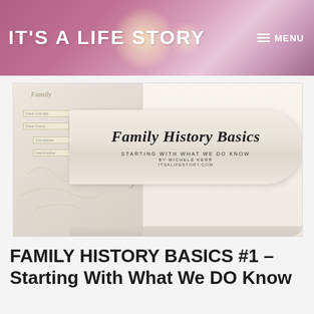IT'S A LIFE STORY
[Figure (illustration): Family History Basics promotional image showing a decorative scroll banner with cursive text 'Family History Basics', subtitle 'STARTING WITH WHAT WE DO KNOW', 'BY MICHELE KERR', 'ITSALIFESTORY.COM', alongside a illustrated family tree sketch on the left.]
FAMILY HISTORY BASICS #1 – Starting With What We DO Know